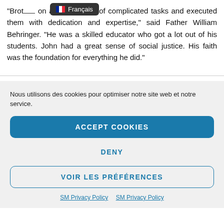“Brot… on a wide variety of complicated tasks and executed them with dedication and expertise,” said Father William Behringer. “He was a skilled educator who got a lot out of his students. John had a great sense of social justice. His faith was the foundation for everything he did.”
Nous utilisons des cookies pour optimiser notre site web et notre service.
ACCEPT COOKIES
DENY
VOIR LES PRÉFÉRENCES
SM Privacy Policy   SM Privacy Policy